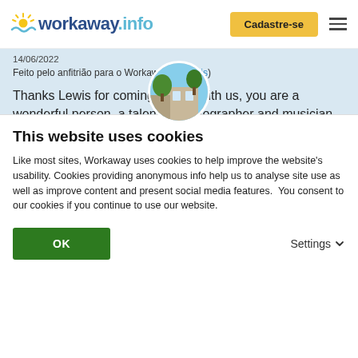workaway.info | Cadastre-se
14/06/2022
Feito pelo anfitrião para o Workawayer (Lewis)
Thanks Lewis for coming to stay with us, you are a wonderful person, a talented photographer and musician . The piano was happy to have someone so talented playing it, Liza the dog fell in love with him, he was a joy to everyone.
Lewis is helpful , enthusiastic , he got on with all the family , the other workaways.
I hope he will be able to... read more
[Figure (photo): Circular avatar photo showing a building with trees]
This website uses cookies
Like most sites, Workaway uses cookies to help improve the website's usability. Cookies providing anonymous info help us to analyse site use as well as improve content and present social media features.  You consent to our cookies if you continue to use our website.
OK
Settings